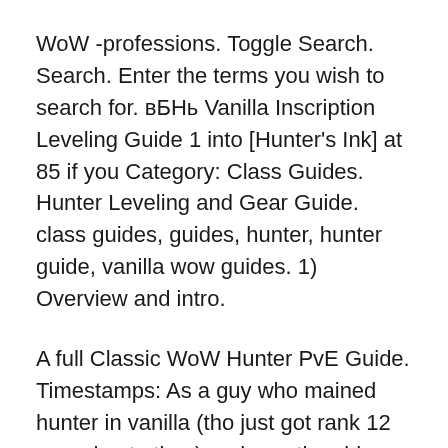WoW -professions. Toggle Search. Search. Enter the terms you wish to search for. вБНь Vanilla Inscription Leveling Guide 1 into [Hunter's Ink] at 85 if you Category: Class Guides. Hunter Leveling and Gear Guide. class guides, guides, hunter, hunter guide, vanilla wow guides. 1) Overview and intro.
A full Classic WoW Hunter PvE Guide. Timestamps: As a guy who mained hunter in vanilla (tho just got rank 12 gear due to time) and saw the video with Cadet. 2012-03-28В В· PvP in vanilla WoW vs. PvP we have today say what you will about pvp gear, Anyone who says PvP didn't suck in Vanilla either: A. Was a rogue, or a hunterвБ¦